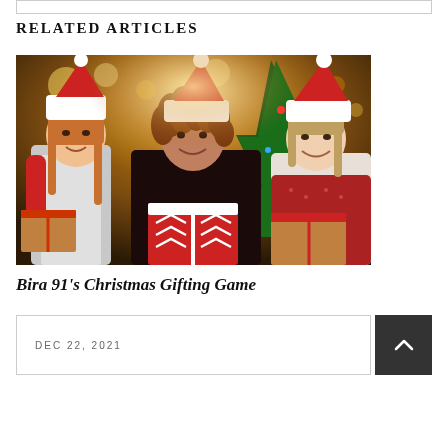RELATED ARTICLES
[Figure (photo): Three young women wearing Santa hats and holding Christmas gift boxes, smiling in front of a decorated Christmas tree with warm bokeh lights in the background.]
Bira 91's Christmas Gifting Game
DEC 22, 2021